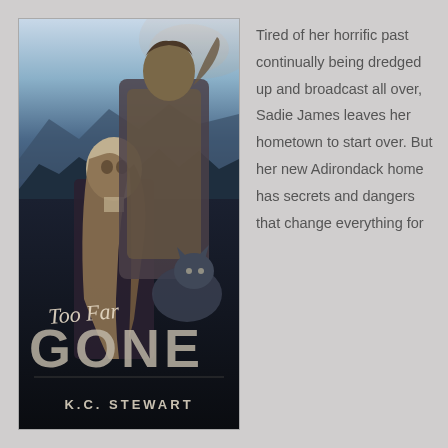[Figure (illustration): Book cover for 'Too Far Gone' by K.C. Stewart. Shows a shirtless man standing behind a blonde woman, both in dark dramatic lighting with mountains and a wolf in the background. The title 'Too Far Gone' is displayed in stylized script and bold lettering, with the author's name 'K.C. Stewart' at the bottom.]
Tired of her horrific past continually being dredged up and broadcast all over, Sadie James leaves her hometown to start over. But her new Adirondack home has secrets and dangers that change everything for